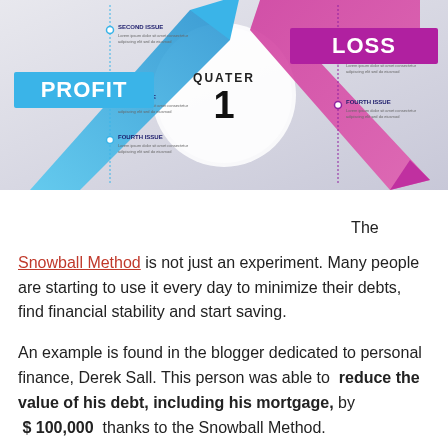[Figure (infographic): Business infographic showing PROFIT (blue arrow going up-right) and LOSS (pink/magenta arrow going down-right) with QUATER 1 in center, and four issue callouts on left and right sides]
The Snowball Method is not just an experiment. Many people are starting to use it every day to minimize their debts, find financial stability and start saving.
An example is found in the blogger dedicated to personal finance, Derek Sall. This person was able to reduce the value of his debt, including his mortgage, by $ 100,000 thanks to the Snowball Method.